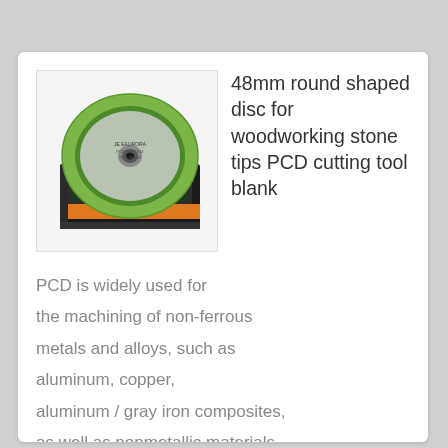[Figure (photo): A round green disc (PCD cutting tool blank) sitting on a black and orange product box, photographed on a white background. Small label visible on the disc.]
48mm round shaped disc for woodworking stone tips PCD cutting tool blank
PCD is widely used for the machining of non-ferrous metals and alloys, such as aluminum, copper, aluminum / gray iron composites, as well as nonmetallic materials such as wood, chipboard, ceramics, plastic, rubber etc, where high abrasion resistance and good